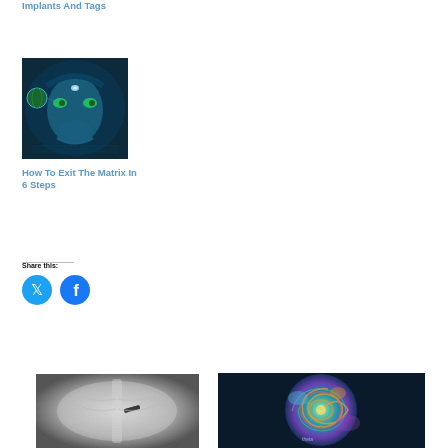Implants And Tags
[Figure (illustration): Digital fantasy artwork of a blue-toned humanoid female figure with glowing green eyes and a jewel on her forehead, holding a glowing earth globe in a dark futuristic setting]
How To Exit The Matrix In 6 Steps
Share this:
[Figure (logo): Twitter/X circular blue icon]
[Figure (logo): Facebook circular blue icon]
[Figure (photo): Grayscale X-ray or medical scan image showing a small implant or foreign object]
[Figure (illustration): Colorful swirling spiral artwork with multicolored iridescent pattern and text]